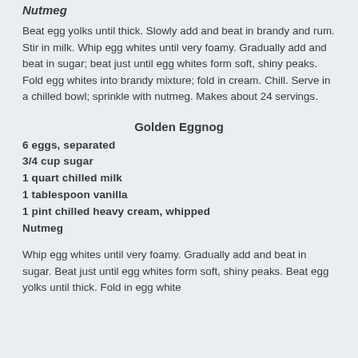Nutmeg
Beat egg yolks until thick. Slowly add and beat in brandy and rum. Stir in milk. Whip egg whites until very foamy. Gradually add and beat in sugar; beat just until egg whites form soft, shiny peaks. Fold egg whites into brandy mixture; fold in cream. Chill. Serve in a chilled bowl; sprinkle with nutmeg. Makes about 24 servings.
Golden Eggnog
6 eggs, separated
3/4 cup sugar
1 quart chilled milk
1 tablespoon vanilla
1 pint chilled heavy cream, whipped
Nutmeg
Whip egg whites until very foamy. Gradually add and beat in sugar. Beat just until egg whites form soft, shiny peaks. Beat egg yolks until thick. Fold in egg white mixture.